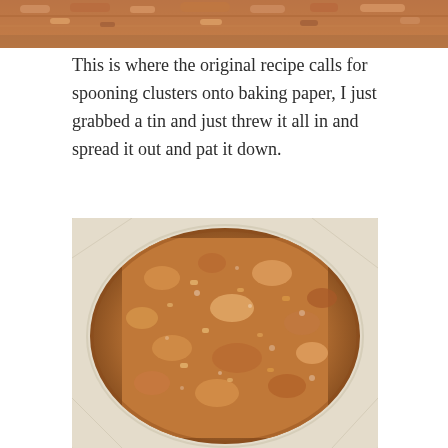[Figure (photo): Partial top strip of a baking photo showing granola or nut cluster mixture, cropped at top.]
This is where the original recipe calls for spooning clusters onto baking paper, I just grabbed a tin and just threw it all in and spread it out and pat it down.
[Figure (photo): A round tin lined with baking/parchment paper filled with a flat, patted-down oat and nut granola mixture, golden brown and glistening, viewed from above.]